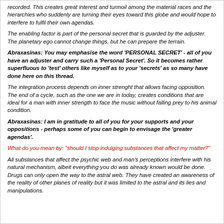recorded. This creates great interest and turmoil among the material races and the hierarchies who suddenly are turning their eyes toward this globe and would hope to interfere to fulfil their own agendas.
The enabling factor is part of the personal secret that is guarded by the adjuster. The planetary ego cannot change things, but he can prepare the terrain.
Abraxasinas: You may emphasise the word 'PERSONAL SECRET' - all of you have an adjuster and carry such a 'Personal Secret'. So it becomes rather superfluous to 'test' others like myself as to your 'secrets' as so many have done here on this thread.
The integration process depends on inner strenght that allows facing opposition. The end of a cycle, such as the one we are in today, creates conditions that are ideal for a man with inner strength to face the music without falling prey to his animal condition.
Abraxasinas: I am in gratitude to all of you for your supports and your oppositions - perhaps some of you can begin to envisage the 'greater agendas'.
What do you mean by: "should I stop indulging substances that affect my matter?"
All substances that affect the psychic web and man's perceptions interfere with his natural mechanism, albeit everything you do was already known would be done. Drugs can only open the way to the astral web. They have created an awareness of the reality of other planes of reality but it was limited to the astral and its lies and manipulations.